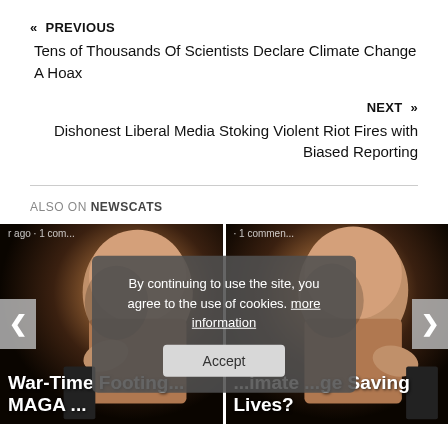« PREVIOUS
Tens of Thousands Of Scientists Declare Climate Change A Hoax
NEXT »
Dishonest Liberal Media Stoking Violent Riot Fires with Biased Reporting
ALSO ON NEWSCATS
[Figure (photo): Two side-by-side news article cards showing an elderly bald man, with navigation arrows and a cookie consent overlay. Left card: 'War-Time Footing... MAGA ...' Right card: '...imate ...ge Saving Lives?']
By continuing to use the site, you agree to the use of cookies. more information
Accept